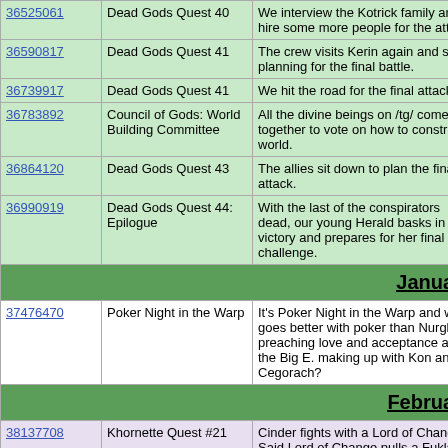| ID | Title | Description |
| --- | --- | --- |
| 36525061 | Dead Gods Quest 40 | We interview the Kotrick family and hire some more people for the attack. |
| 36590817 | Dead Gods Quest 41 | The crew visits Kerin again and starts planning for the final battle. |
| 36739917 | Dead Gods Quest 41 | We hit the road for the final attack. |
| 36783892 | Council of Gods: World Building Committee | All the divine beings on /tg/ come together to vote on how to construct a world. |
| 36864120 | Dead Gods Quest 43 | The allies sit down to plan the final attack. |
| 36990919 | Dead Gods Quest 44: Epilogue | With the last of the conspirators dead, our young Herald basks in victory and prepares for her final challenge. |
| (section) | January |  |
| 37476470 | Poker Night in the Warp | It's Poker Night in the Warp and what goes better with poker than Nurgle preaching love and acceptance and the Big E. making up with Kon and Cegorach? |
| (section) | February |  |
| 38137708 | Khornette Quest #21 | Cinder fights with a Lord of Change. Said Lord of Change pulls a Fuklaw. |